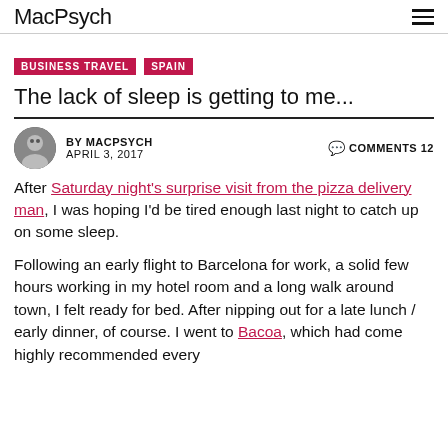MacPsych
BUSINESS TRAVEL
SPAIN
The lack of sleep is getting to me...
BY MACPSYCH   APRIL 3, 2017   COMMENTS 12
After Saturday night's surprise visit from the pizza delivery man, I was hoping I'd be tired enough last night to catch up on some sleep.
Following an early flight to Barcelona for work, a solid few hours working in my hotel room and a long walk around town, I felt ready for bed. After nipping out for a late lunch / early dinner, of course. I went to Bacoa, which had come highly recommended every